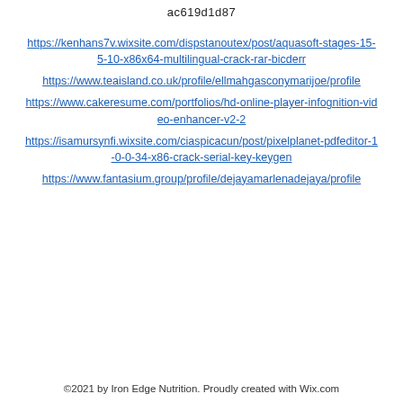ac619d1d87
https://kenhans7v.wixsite.com/dispstanoutex/post/aquasoft-stages-15-5-10-x86x64-multilingual-crack-rar-bicderr
https://www.teaisland.co.uk/profile/ellmahgasconymarijoe/profile
https://www.cakeresume.com/portfolios/hd-online-player-infognition-video-enhancer-v2-2
https://isamursynfi.wixsite.com/ciaspicacun/post/pixelplanet-pdfeditor-1-0-0-34-x86-crack-serial-key-keygen
https://www.fantasium.group/profile/dejayamarlenadejaya/profile
©2021 by Iron Edge Nutrition. Proudly created with Wix.com